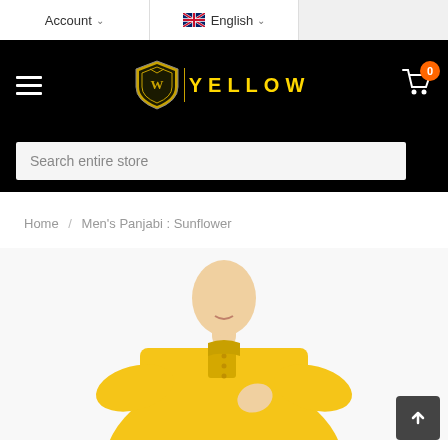Account | English
[Figure (logo): Yellow clothing brand logo — gold shield emblem with 'YELLOW' text in gold on black navigation bar]
Search entire store
Home / Men's Panjabi : Sunflower
[Figure (photo): Man wearing a yellow/sunflower colored Panjabi (traditional South Asian long shirt) with mandarin collar, looking slightly down, hand near chest buttons]